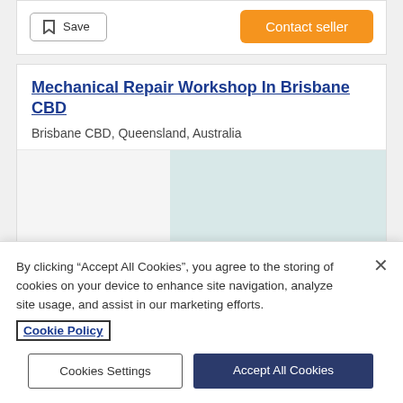[Figure (screenshot): Save button and Contact seller button at top of listing card]
Mechanical Repair Workshop In Brisbane CBD
Brisbane CBD, Queensland, Australia
[Figure (photo): Listing image area with a light blue-grey placeholder image on the right side]
By clicking “Accept All Cookies”, you agree to the storing of cookies on your device to enhance site navigation, analyze site usage, and assist in our marketing efforts.
Cookie Policy
Cookies Settings
Accept All Cookies